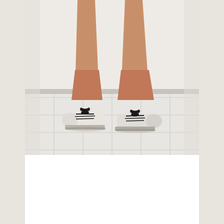[Figure (photo): A photo of a person's lower legs and feet wearing white canvas sneakers with black laces, standing on white ceramic tile floor against a white wall.]